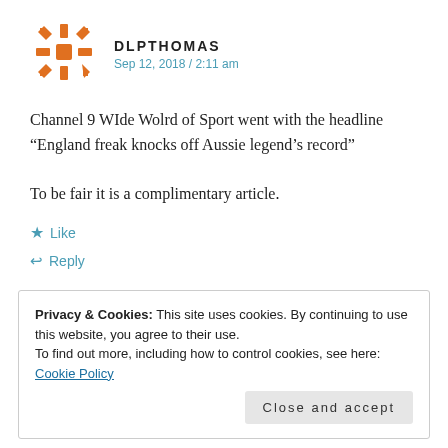[Figure (logo): Orange decorative snowflake/star pattern avatar icon]
DLPTHOMAS
Sep 12, 2018 / 2:11 am
Channel 9 WIde Wolrd of Sport went with the headline “England freak knocks off Aussie legend’s record”

To be fair it is a complimentary article.
★ Like
↩ Reply
Privacy & Cookies: This site uses cookies. By continuing to use this website, you agree to their use.
To find out more, including how to control cookies, see here: Cookie Policy

Close and accept
Glenn McGrath’s wicket tally being over taken.